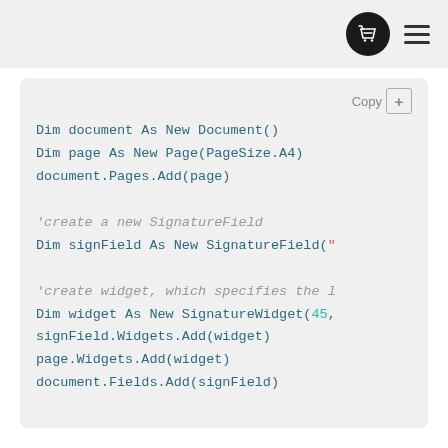[Figure (screenshot): Top navigation bar with basket icon and hamburger menu]
Copy [+]
Dim document As New Document()
Dim page As New Page(PageSize.A4)
document.Pages.Add(page)

'create a new SignatureField
Dim signField As New SignatureField("

'create widget, which specifies the l
Dim widget As New SignatureWidget(45,
signField.Widgets.Add(widget)
page.Widgets.Add(widget)
document.Fields.Add(signField)